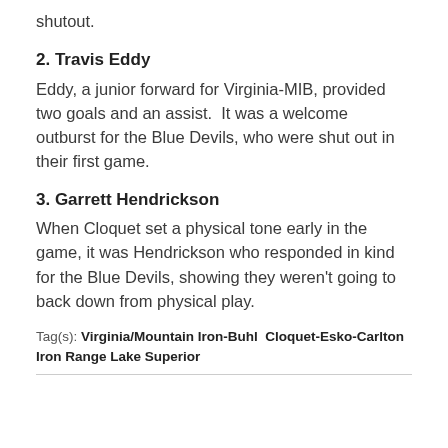shutout.
2. Travis Eddy
Eddy, a junior forward for Virginia-MIB, provided two goals and an assist.  It was a welcome outburst for the Blue Devils, who were shut out in their first game.
3. Garrett Hendrickson
When Cloquet set a physical tone early in the game, it was Hendrickson who responded in kind for the Blue Devils, showing they weren't going to back down from physical play.
Tag(s): Virginia/Mountain Iron-Buhl  Cloquet-Esko-Carlton  Iron Range  Lake Superior